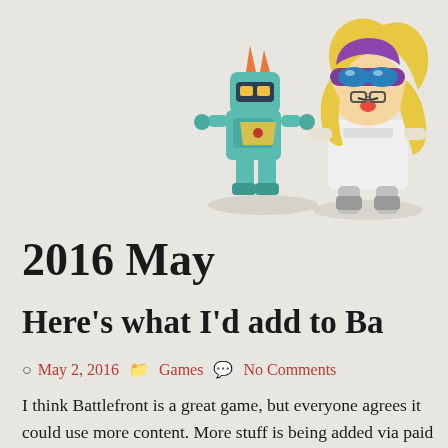[Figure (illustration): Cartoon illustration of two chibi-style characters: a small teal/green robot-like creature with orange horns and yellow armor, and a blonde girl wearing white outfit and purple helmet/goggles, both in a crouching or action pose against a light gray background]
2016 May
Here's what I'd add to Ba
May 2, 2016   Games   No Comments
I think Battlefront is a great game, but everyone agrees it could use more content. More stuff is being added via paid DLC soon, but since I'm obsessed with Star Wars lore, I thought I'd say what I'd like to see added. Might as well use